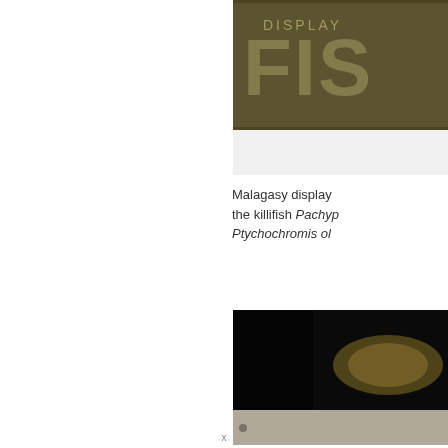[Figure (photo): Partial view of a book or display panel with 'FISH' text visible in large letters on an olive/dark background, cropped at top right of page]
[Figure (photo): A light grey/white rectangular strip below the fish sign image]
Malagasy display... the killifish Pachyp... Ptychochromis ol...
[Figure (photo): Dark aquarium or tank photograph showing a fish (cichlid or similar) with dark background, partially visible at right side of page]
[Figure (photo): Grey/beige strip at bottom of the second tank photo, partially visible]